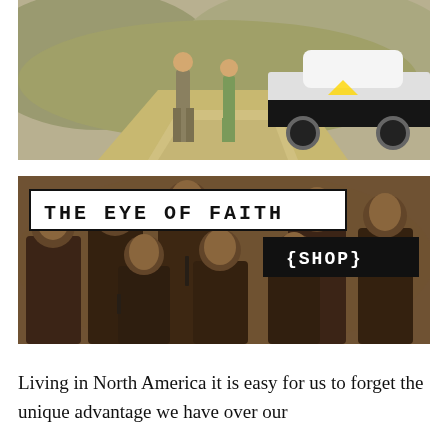[Figure (photo): Vintage color photograph showing a police officer standing next to a woman on a desert road, with a black and white police car parked to the right.]
[Figure (photo): Sepia-toned group portrait of young men in suits with overlaid text reading 'THE EYE OF FAITH' in a white box and '{SHOP}' in a black box.]
Living in North America it is easy for us to forget the unique advantage we have over our